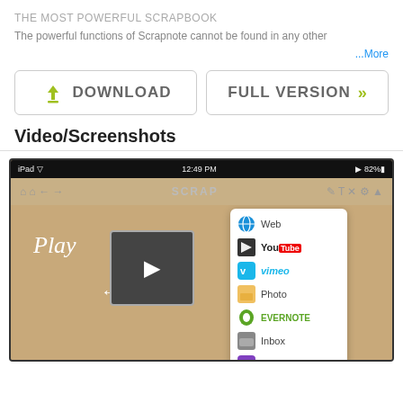THE MOST POWERFUL SCRAPBOOK
The powerful functions of Scrapnote cannot be found in any other
...More
[Figure (screenshot): Download and Full Version buttons]
Video/Screenshots
[Figure (screenshot): iPad app screenshot showing Scrapnote with a popup menu listing Web, YouTube, vimeo, Photo, EVERNOTE, Inbox, Clipboard options. The background shows a scrapbook-style interface with a video frame and the word Play in handwriting.]